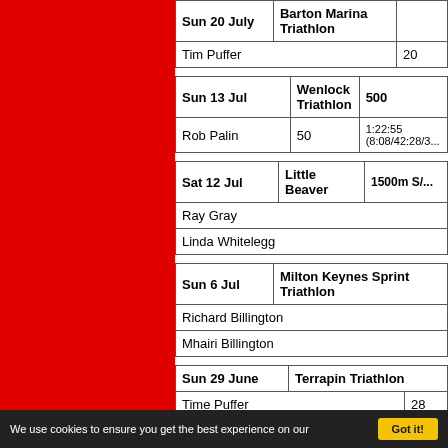| Sun 20 July | Barton Marina Triathlon |  |
| --- | --- | --- |
| Tim Puffer | 20 |  |
| Sun 13 Jul | Wenlock Triathlon | 500 |
| --- | --- | --- |
| Rob Palin | 50 | 1:22:55 (8:08/42:28/3... |
| Sat 12 Jul | Little Beaver | 1500m S/... |
| --- | --- | --- |
| Ray Gray |  |  |
| Linda Whitelegg |  |  |
| Sun 6 Jul | Milton Keynes Sprint Triathlon |  |
| --- | --- | --- |
| Richard Billington |  |  |
| Mhairi Billington |  |  |
| Sun 29 June | Terrapin Triathlon |  |
| --- | --- | --- |
| Time Puffer | 28 |  |
| Dave Smith | 36 |  |
We use cookies to ensure you get the best experience on our